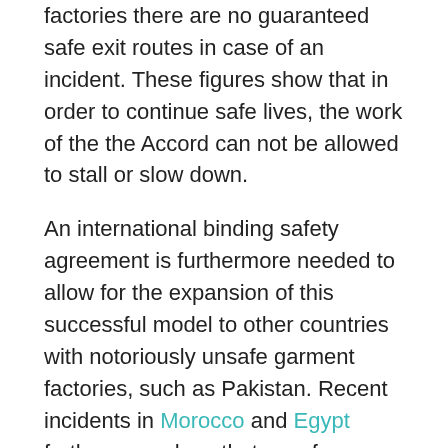factories there are no guaranteed safe exit routes in case of an incident. These figures show that in order to continue safe lives, the work of the the Accord can not be allowed to stall or slow down.
An international binding safety agreement is furthermore needed to allow for the expansion of this successful model to other countries with notoriously unsafe garment factories, such as Pakistan. Recent incidents in Morocco and Egypt furthermore show that unsafe workplaces are still rife in the industry and that brands' own voluntary programmes fail to keep workers safe.
Khalid Mahmood, director of the Labour Education Foundation (LEF) in Pakistan, said: “Every day, we hear news of small-scale incidents in South Asian countries where workers are injured or lose their lives. It is just matter of time that we hear news of a new big incident. Workers should be given more freedom to organise their